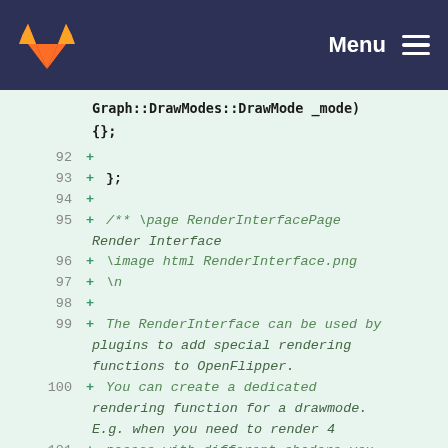GitLab — Menu
Graph::DrawModes::DrawMode _mode)
{};
92  +
93  + };
94  +
95  + /** \page RenderInterfacePage Render Interface
96  + \image html RenderInterface.png
97  + \n
98  +
99  + The RenderInterface can be used by plugins to add special rendering functions to OpenFlipper.
100 + You can create a dedicated rendering function for a drawmode. E.g. when you need to render 4
101 + passes with different shaders you can do that in your rendering function.
102 +